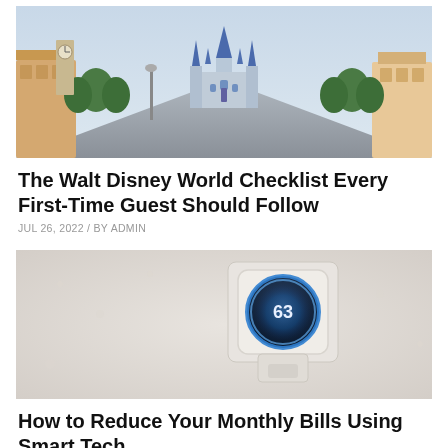[Figure (photo): Wide street view of Walt Disney World Magic Kingdom with Cinderella Castle in the background, flanked by colorful buildings and trees, empty street in early morning.]
The Walt Disney World Checklist Every First-Time Guest Should Follow
JUL 26, 2022 / BY ADMIN
[Figure (photo): A Nest smart thermostat mounted on a white textured wall, displaying 63 degrees with a glowing blue ring.]
How to Reduce Your Monthly Bills Using Smart Tech
JUL 22, 2022 / BY ADMIN